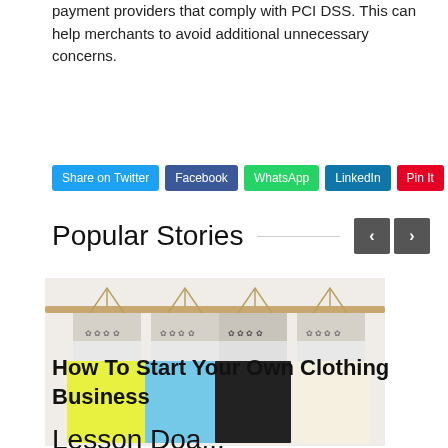payment providers that comply with PCI DSS. This can help merchants to avoid additional unnecessary concerns.
Share on Twitter | Facebook | WhatsApp | LinkedIn | Pin It
Popular Stories
[Figure (photo): Four colorful summer dresses hanging on wooden hangers against a white wall — yellow, blue, black, and cream/white, each with a floral/lace printed bodice.]
How To Start Your Own Clothing Business
Lesson Doa...